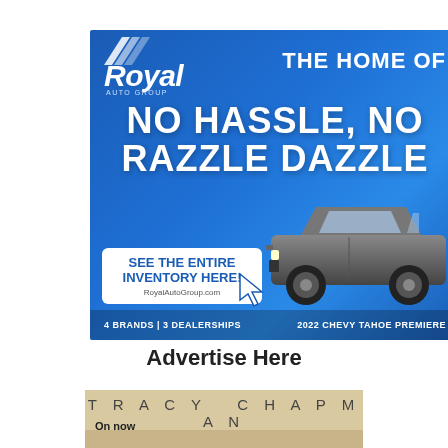[Figure (illustration): Royal Auto Group advertisement. Blue gradient background. Royal Auto Group logo top left. Text: THE HOME OF NO HASSLE, NO RAZZLE DAZZLE. White CTA button: SEE THE ENTIRE INVENTORY HERE! RoyalAutoGroup.com. Cursor icon. 2022 Chevy Tahoe Premiere vehicle image. Footer: 4 BRANDS | 3 DEALERSHIPS and 2022 CHEVY TAHOE PREMIERE.]
Advertise Here
[Figure (illustration): Tracy Chapman promotional banner with tan/beige background. Large letter-spaced text: TRACY CHAPMAN. 'On now' text overlay.]